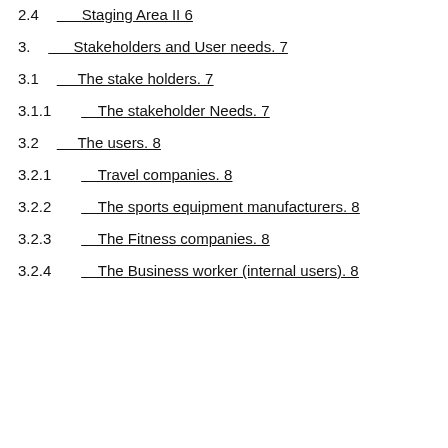2.4        Staging Area II 6
3.         Stakeholders and User needs. 7
3.1        The stake holders. 7
3.1.1          The stakeholder Needs. 7
3.2        The users. 8
3.2.1          Travel companies. 8
3.2.2          The sports equipment manufacturers. 8
3.2.3          The Fitness companies. 8
3.2.4          The Business worker (internal users). 8